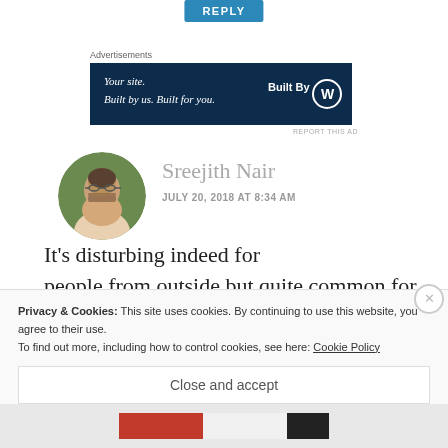REPLY
Advertisements
[Figure (screenshot): WordPress advertisement banner: 'Your site. Built by us. Built for you.' with Built By WordPress logo on dark navy background]
REPORT THIS AD
[Figure (photo): Circular avatar photo of Sreejith Nair, a man wearing glasses]
Sreejith Nair
JULY 20, 2018 AT 8:34 AM
It’s disturbing indeed for people from outside but quite common for
Privacy & Cookies: This site uses cookies. By continuing to use this website, you agree to their use.
To find out more, including how to control cookies, see here: Cookie Policy
Close and accept